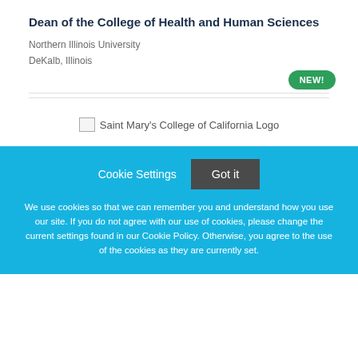Dean of the College of Health and Human Sciences
Northern Illinois University
DeKalb, Illinois
[Figure (other): Green 'NEW!' badge/label indicating a new listing]
[Figure (logo): Saint Mary's College of California Logo (broken image placeholder)]
Cookie Settings  Got it
We use cookies so that we can remember you and understand how you use our site. If you do not agree with our use of cookies, please change the current settings found in our Cookie Policy. Otherwise, you agree to the use of the cookies as they are currently set.